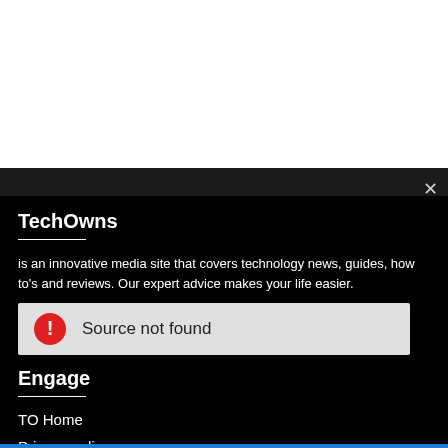[Figure (screenshot): White blank area at top of page (browser content area)]
TechOwns
is an innovative media site that covers technology news, guides, how to's and reviews. Our expert advice makes your life easier.
[Figure (infographic): Error bar with red exclamation icon and text 'Source not found' on grey background]
Engage
TO Home
Privacy policy